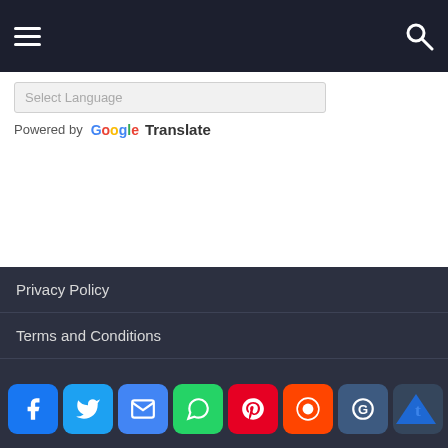Navigation bar with hamburger menu and search icon
Select Language
Powered by Google Translate
Privacy Policy
Terms and Conditions
Cookies Policy
Contact
Social share bar: Facebook, Twitter, Email, WhatsApp, Pinterest, Reddit, Google+, Tumblr, AddThis, YouTube